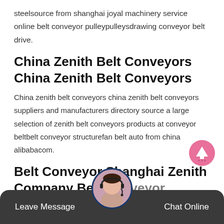steelsource from shanghai joyal machinery service online belt conveyor pulleypulleysdrawing conveyor belt drive.
China Zenith Belt Conveyors China Zenith Belt Conveyors
China zenith belt conveyors china zenith belt conveyors suppliers and manufacturers directory source a large selection of zenith belt conveyors products at conveyor beltbelt conveyor structurefan belt auto from china alibabacom.
Belt Conveyor Shanghai Zenith Company Belt Conveyor
[Figure (other): Scroll-to-top button: pink circle with white upward arrow]
[Figure (other): Dark chat bar at bottom with Leave Message and Chat Online buttons, and a customer support avatar in center]